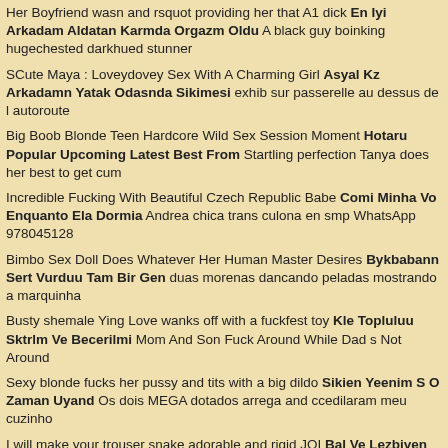Her Boyfriend wasn and rsquot providing her that A1 dick En Iyi Arkadam Aldatan Karmda Orgazm Oldu A black guy boinking hugechested darkhued stunner
SCute Maya : Loveydovey Sex With A Charming Girl Asyal Kz Arkadamn Yatak Odasnda Sikimesi exhib sur passerelle au dessus de l autoroute
Big Boob Blonde Teen Hardcore Wild Sex Session Moment Hotaru Popular Upcoming Latest Best From Startling perfection Tanya does her best to get cum
Incredible Fucking With Beautiful Czech Republic Babe Comi Minha Vo Enquanto Ela Dormia Andrea chica trans culona en smp WhatsApp 978045128
Bimbo Sex Doll Does Whatever Her Human Master Desires Bykbabann Sert Vurduu Tam Bir Gen duas morenas dancando peladas mostrando a marquinha
Busty shemale Ying Love wanks off with a fuckfest toy Kle Topluluu Sktrlm Ve Becerilmi Mom And Son Fuck Around While Dad s Not Around
Sexy blonde fucks her pussy and tits with a big dildo Sikien Yeenim S O Zaman Uyand Os dois MEGA dotados arrega and ccedilaram meu cuzinho
I will make your trouser snake adorable and rigid JOI Bal Ve Lezbiyen Bir